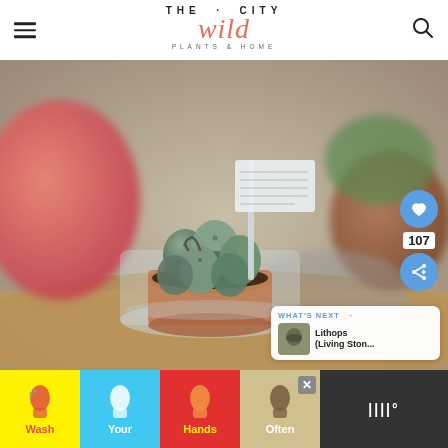THE CITY Wild PLANTS & HOME
[Figure (photo): Close-up photo of a small lithops or similar succulent plant in a terracotta pot, placed inside a glass container, on a wooden surface. A plant label/stake is visible. A pink pot and another plant in a brown pot are blurred in the background. Social action buttons (heart/share) and a 'What's Next' card overlay the right side.]
WHAT'S NEXT →
Lithops (Living Ston...
[Figure (infographic): Advertisement banner at the bottom showing colorful hand-washing instructions with illustrated hands and text: Wash Your Hands Often. Close button (X) visible. Right side shows a dark section with white logo text (looks like 'IIII°').]